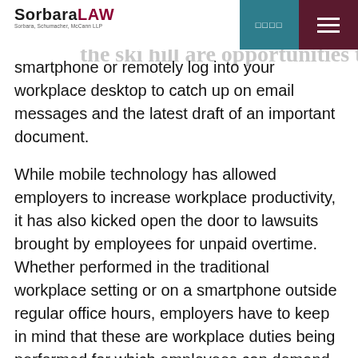Sorbara LAW — Sorbara, Schumacher, McCann LLP
smartphone or remotely log into your workplace desktop to catch up on email messages and the latest draft of an important document.
While mobile technology has allowed employers to increase workplace productivity, it has also kicked open the door to lawsuits brought by employees for unpaid overtime. Whether performed in the traditional workplace setting or on a smartphone outside regular office hours, employers have to keep in mind that these are workplace duties being performed for which employees can demand